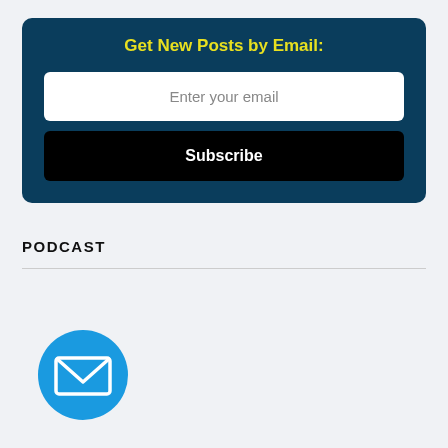Get New Posts by Email:
Enter your email
Subscribe
PODCAST
[Figure (illustration): Blue circle with a white envelope/email icon inside]